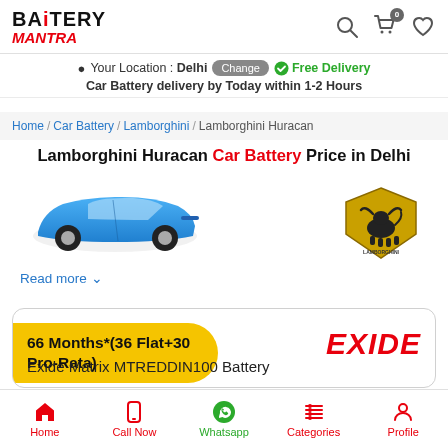BATTERY MANTRA
Your Location : Delhi Change Free Delivery
Car Battery delivery by Today within 1-2 Hours
Home / Car Battery / Lamborghini / Lamborghini Huracan
Lamborghini Huracan Car Battery Price in Delhi
[Figure (photo): Blue Lamborghini Huracan car image]
[Figure (logo): Lamborghini bull logo on yellow shield]
Read more
66 Months*(36 Flat+30 Pro-Rata)
[Figure (logo): Exide red brand logo]
Exide Matrix MTREDDIN100 Battery
Home  Call Now  Whatsapp  Categories  Profile